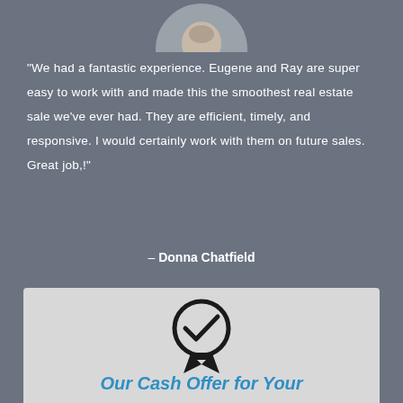[Figure (photo): Circular cropped headshot of a man, partially visible at top of page]
"We had a fantastic experience. Eugene and Ray are super easy to work with and made this the smoothest real estate sale we've ever had. They are efficient, timely, and responsive. I would certainly work with them on future sales. Great job,!"
– Donna Chatfield
[Figure (illustration): Award/medal icon with checkmark inside a circle and ribbon below, in dark/black color]
Our Cash Offer for Your